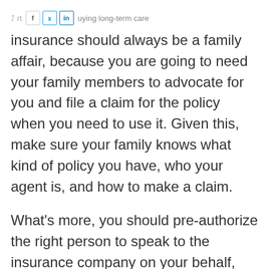Buying long-term care insurance should always be a family affair, because you are going to need your family members to advocate for you and file a claim for the policy when you need to use it. Given this, make sure your family knows what kind of policy you have, who your agent is, and how to make a claim.
What's more, you should pre-authorize the right person to speak to the insurance company on your behalf, and not just rely on a medical power of attorney. That said, you should definitely have a well-drafted,